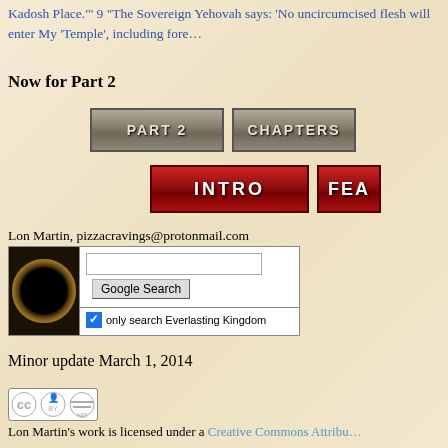Kadosh Place."' 9 "The Sovereign Yehovah says: 'No uncircumcised flesh will enter My 'Temple', including fore...
Now for Part 2
[Figure (screenshot): Navigation buttons: PART 2 and CHAPTERS (partially visible)]
[Figure (screenshot): Navigation buttons: INTRO and FEA... (partially visible), red buttons]
Lon Martin, pizzacravings@protonmail.com
[Figure (screenshot): Search widget with solar eclipse image on left, Google Search input field and button, checkbox 'only search Everlasting Kingdom']
Minor update March 1, 2014
[Figure (logo): Creative Commons BY-ND license badge]
Lon Martin's work is licensed under a Creative Commons Attribu...